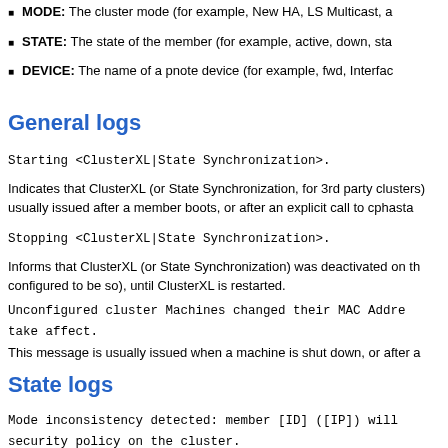MODE: The cluster mode (for example, New HA, LS Multicast, a...
STATE: The state of the member (for example, active, down, sta...
DEVICE: The name of a pnote device (for example, fwd, Interfac...
General logs
Starting <ClusterXL|State Synchronization>.
Indicates that ClusterXL (or State Synchronization, for 3rd party clusters) usually issued after a member boots, or after an explicit call to cphasta...
Stopping <ClusterXL|State Synchronization>.
Informs that ClusterXL (or State Synchronization) was deactivated on th... configured to be so), until ClusterXL is restarted.
Unconfigured cluster Machines changed their MAC Addre... take affect.
This message is usually issued when a machine is shut down, or after a...
State logs
Mode inconsistency detected: member [ID] ([IP]) will security policy on the cluster.
This message should rarely happen. It indicates that another cluster me...